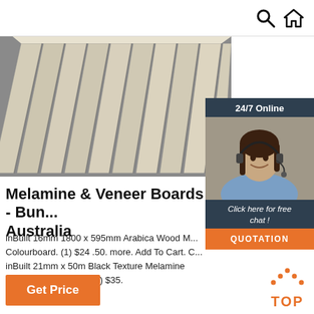Search and Home navigation icons
[Figure (photo): Stack of pale wood/melamine boards arranged side by side on a grey floor, viewed at an angle]
[Figure (infographic): 24/7 Online chat widget showing a smiling woman with a headset, dark navy background, with 'Click here for free chat!' text and an orange QUOTATION button]
Melamine & Veneer Boards - Bun... Australia
inBuilt 16mm 1800 x 595mm Arabica Wood M... Colourboard. (1) $24 .50. more. Add To Cart. C... inBuilt 21mm x 50m Black Texture Melamine Colourboard Edging. (1) $35.
[Figure (infographic): Orange 'Get Price' button]
[Figure (infographic): Orange 'TOP' back-to-top button with dotted arrow pointing upward]